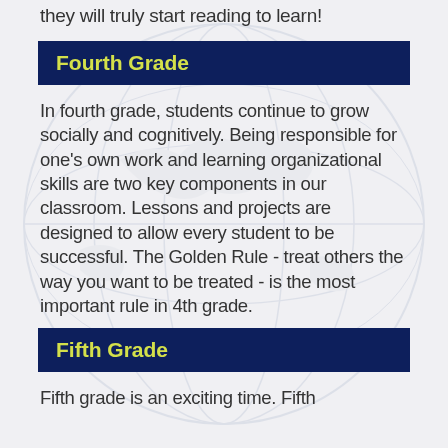they will truly start reading to learn!
Fourth Grade
In fourth grade, students continue to grow socially and cognitively. Being responsible for one's own work and learning organizational skills are two key components in our classroom. Lessons and projects are designed to allow every student to be successful. The Golden Rule - treat others the way you want to be treated - is the most important rule in 4th grade.
Fifth Grade
Fifth grade is an exciting time. Fifth